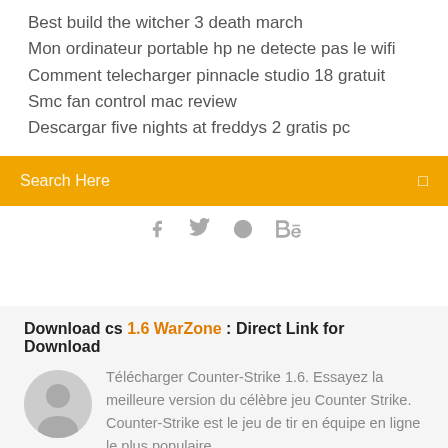Best build the witcher 3 death march
Mon ordinateur portable hp ne detecte pas le wifi
Comment telecharger pinnacle studio 18 gratuit
Smc fan control mac review
Descargar five nights at freddys 2 gratis pc
Search Here
[Figure (infographic): Social media icons: Facebook, Twitter, Dribbble, Behance]
Download cs 1.6 WarZone : Direct Link for Download
Télécharger Counter-Strike 1.6. Essayez la meilleure version du célèbre jeu Counter Strike. Counter-Strike est le jeu de tir en équipe en ligne le plus populaire ...